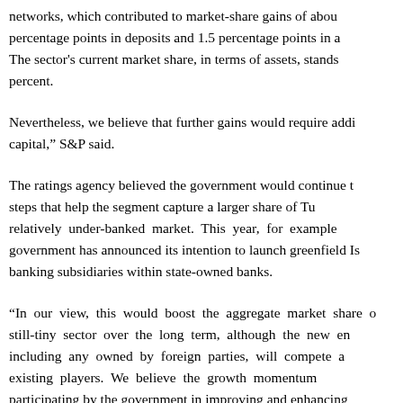networks, which contributed to market-share gains of about percentage points in deposits and 1.5 percentage points in a The sector's current market share, in terms of assets, stands percent.
Nevertheless, we believe that further gains would require addi capital," S&P said.
The ratings agency believed the government would continue t steps that help the segment capture a larger share of Tu relatively under-banked market. This year, for example government has announced its intention to launch greenfield Is banking subsidiaries within state-owned banks.
"In our view, this would boost the aggregate market share still-tiny sector over the long term, although the new en including any owned by foreign parties, will compete a existing players. We believe the growth momentum participating by the government in improving and enhancing